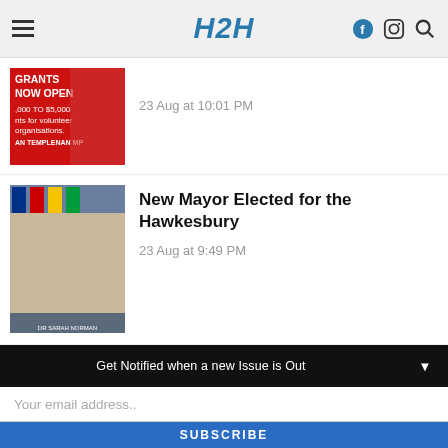H2H
[Figure (photo): Red banner image showing GRANTS NOW OPEN text with woman in blue shirt (grants advertisement)]
23 Aug at 10:01 PM
[Figure (photo): Photo of woman in white jacket seated at a council desk with flags in background (new mayor)]
New Mayor Elected for the Hawkesbury
23 Aug at 9:49 PM
Get Notified when a new Issue is Out
Your email address..
SUBSCRIBE